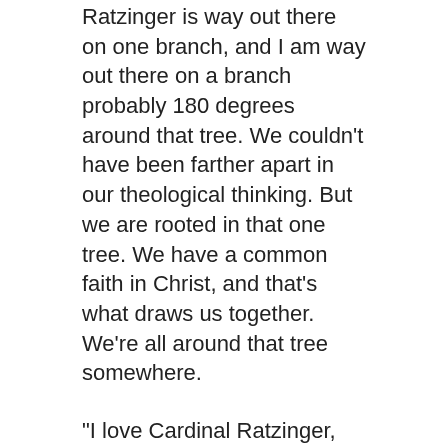Ratzinger is way out there on one branch, and I am way out there on a branch probably 180 degrees around that tree. We couldn't have been farther apart in our theological thinking. But we are rooted in that one tree. We have a common faith in Christ, and that's what draws us together. We're all around that tree somewhere.
“I love Cardinal Ratzinger, Pope Benedict. I think he’s a holy man. I really do.”
Regarding another pope, Gramick was asked about the personal correspondence she has had with Pope Francis, as well as supportive letters he sent to New Ways Ministry. She responded: